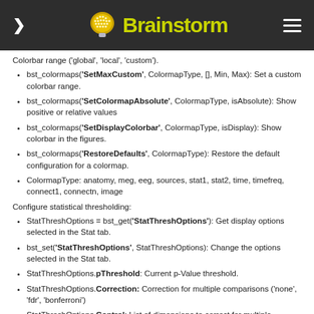Brainstorm
Colorbar range ('global', 'local', 'custom').
bst_colormaps('SetMaxCustom', ColormapType, [], Min, Max): Set a custom colorbar range.
bst_colormaps('SetColormapAbsolute', ColormapType, isAbsolute): Show positive or relative values
bst_colormaps('SetDisplayColorbar', ColormapType, isDisplay): Show colorbar in the figures.
bst_colormaps('RestoreDefaults', ColormapType): Restore the default configuration for a colormap.
ColormapType: anatomy, meg, eeg, sources, stat1, stat2, time, timefreq, connect1, connectn, image
Configure statistical thresholding:
StatThreshOptions = bst_get('StatThreshOptions'): Get display options selected in the Stat tab.
bst_set('StatThreshOptions', StatThreshOptions): Change the options selected in the Stat tab.
StatThreshOptions.pThreshold: Current p-Value threshold.
StatThreshOptions.Correction: Correction for multiple comparisons ('none', 'fdr', 'bonferroni')
StatThreshOptions.Control: List of dimensions to correct for multiple comparisons (default = [1 2 3])